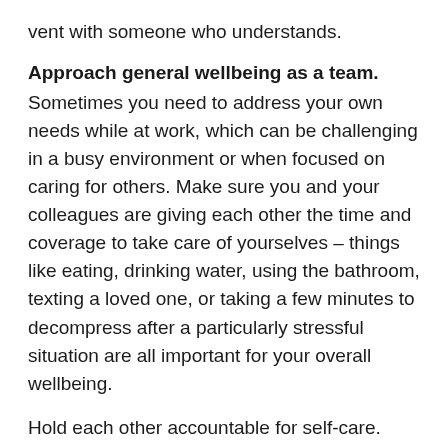vent with someone who understands.
Approach general wellbeing as a team.
Sometimes you need to address your own needs while at work, which can be challenging in a busy environment or when focused on caring for others. Make sure you and your colleagues are giving each other the time and coverage to take care of yourselves – things like eating, drinking water, using the bathroom, texting a loved one, or taking a few minutes to decompress after a particularly stressful situation are all important for your overall wellbeing.
Hold each other accountable for self-care. Share what you're doing to maintain your own mental health and any upcoming self-care goals you have, like reading a book to unwind, or plans for what you'll do the next time you have a few days off. Ask